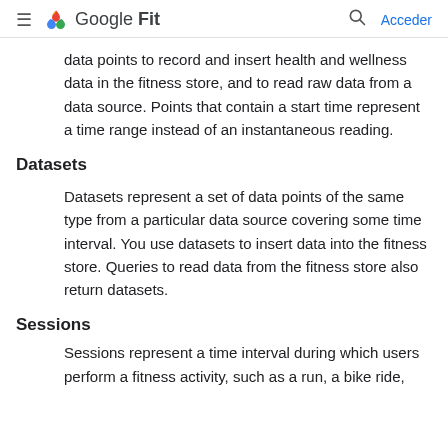Google Fit — Acceder
data points to record and insert health and wellness data in the fitness store, and to read raw data from a data source. Points that contain a start time represent a time range instead of an instantaneous reading.
Datasets
Datasets represent a set of data points of the same type from a particular data source covering some time interval. You use datasets to insert data into the fitness store. Queries to read data from the fitness store also return datasets.
Sessions
Sessions represent a time interval during which users perform a fitness activity, such as a run, a bike ride,